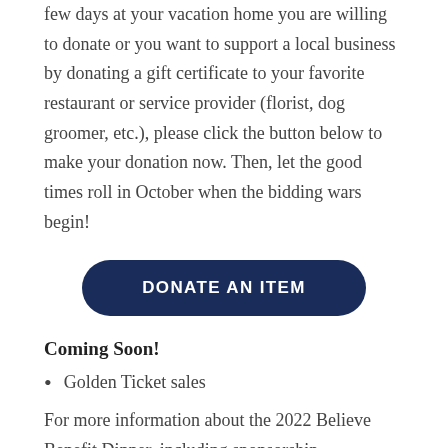few days at your vacation home you are willing to donate or you want to support a local business by donating a gift certificate to your favorite restaurant or service provider (florist, dog groomer, etc.), please click the button below to make your donation now. Then, let the good times roll in October when the bidding wars begin!
[Figure (other): Dark navy blue rounded rectangle button with white bold uppercase text reading DONATE AN ITEM]
Coming Soon!
Golden Ticket sales
For more information about the 2022 Believe Benefit Dinner, including sponsorship, volunteering, and donating items, or if you would like to sign up to be a sponsor or underwriter, please contact Conn Fiedler, Director of Donor Relations